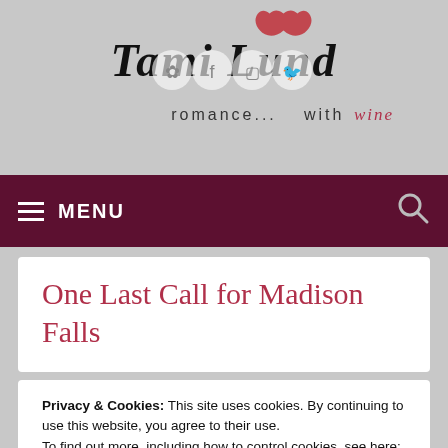[Figure (logo): Tami Lund blog logo with script text 'Tami Lund' and social media icons (Pinterest, Facebook, Instagram, Twitter), tagline 'romance... with wine' with heart graphic]
≡ MENU
One Last Call for Madison Falls
Privacy & Cookies: This site uses cookies. By continuing to use this website, you agree to their use.
To find out more, including how to control cookies, see here:
Cookie Policy
Close and accept
Behon, It's One Last Call, Book 4 of the